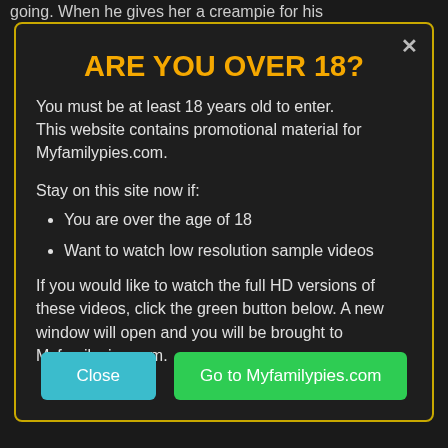going. When he gives her a creampie for his
ARE YOU OVER 18?
You must be at least 18 years old to enter. This website contains promotional material for Myfamilypies.com.
Stay on this site now if:
You are over the age of 18
Want to watch low resolution sample videos
If you would like to watch the full HD versions of these videos, click the green button below. A new window will open and you will be brought to Myfamilypies.com.
Close
Go to Myfamilypies.com